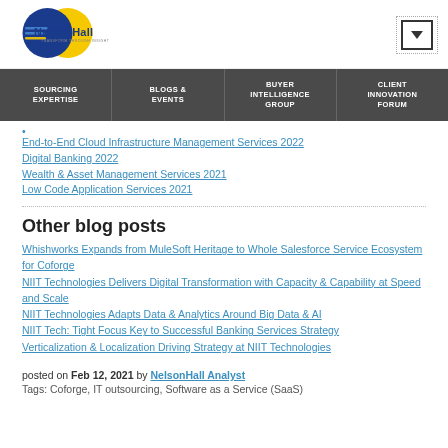[Figure (logo): NelsonHall logo - circular logo with blue and yellow design and text 'NelsonHall TRANSFORM THROUGH INSIGHT']
End-to-End Cloud Infrastructure Management Services 2022
Digital Banking 2022
Wealth & Asset Management Services 2021
Low Code Application Services 2021
Other blog posts
Whishworks Expands from MuleSoft Heritage to Whole Salesforce Service Ecosystem for Coforge
NIIT Technologies Delivers Digital Transformation with Capacity & Capability at Speed and Scale
NIIT Technologies Adapts Data & Analytics Around Big Data & AI
NIIT Tech: Tight Focus Key to Successful Banking Services Strategy
Verticalization & Localization Driving Strategy at NIIT Technologies
posted on Feb 12, 2021 by NelsonHall Analyst
Tags: Coforge, IT outsourcing, Software as a Service (SaaS)